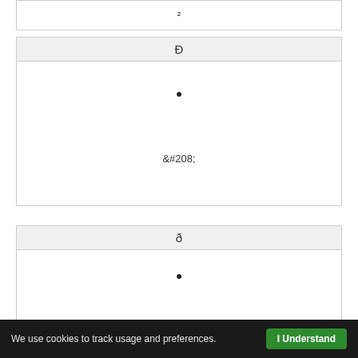| &#178; |
| Ð |
| --- |
| • |
| &#208; |
| ð |
| --- |
| • |
| &#240; |
We use cookies to track usage and preferences. I Understand